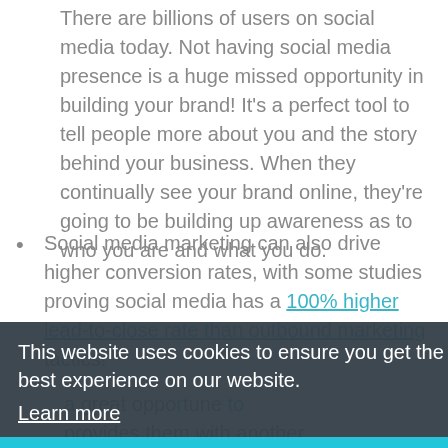There are billions of users on social media today. Not having social media presence is a huge missed opportunity in building your brand! It's a perfect tool to tell people more about you and the story behind your business. When they continually see your brand online, they're going to be building up awareness as to who you are and what you do.
Social media marketing can also drive higher conversion rates, with some studies proving social media has a 100% higher lead-to-close rate than outbound marketing tactics!
This website uses cookies to ensure you get the best experience on our website. Learn more Got it!